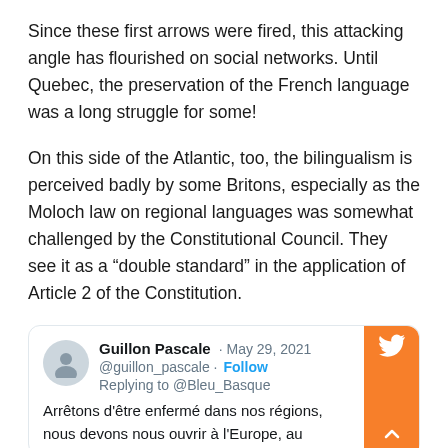Since these first arrows were fired, this attacking angle has flourished on social networks. Until Quebec, the preservation of the French language was a long struggle for some!
On this side of the Atlantic, too, the bilingualism is perceived badly by some Britons, especially as the Moloch law on regional languages was somewhat challenged by the Constitutional Council. They see it as a “double standard” in the application of Article 2 of the Constitution.
[Figure (screenshot): Tweet card from Guillon Pascale (@guillon_pascale), May 29, 2021, replying to @Bleu_Basque. Text begins: Arrêtons d’être enfermé dans nos régions, nous devons nous ouvrir à l’Europe, au...]